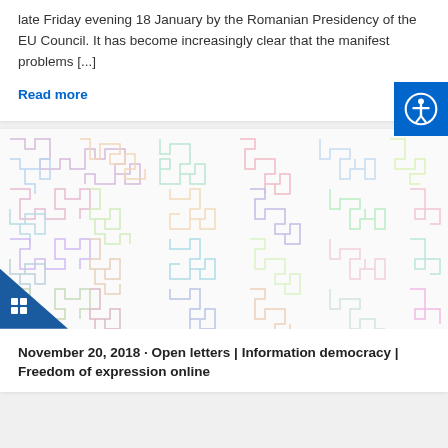late Friday evening 18 January by the Romanian Presidency of the EU Council. It has become increasingly clear that the manifest problems [...]
Read more
[Figure (illustration): Colorful abstract maze/circuit-board pattern illustration with pastel colors (pink, blue, green, yellow) on white background. Blue triangular logo badge in bottom-left corner.]
November 20, 2018 · Open letters | Information democracy | Freedom of expression online